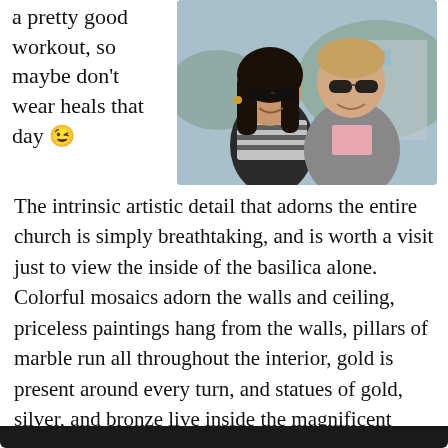a pretty good workout, so maybe don't wear heals that day 😉
[Figure (photo): A smiling couple taking a selfie outdoors; woman with long dark hair wearing sunglasses and a striped top, man with short hair wearing sunglasses and a pink shirt with a gray jacket]
The intrinsic artistic detail that adorns the entire church is simply breathtaking, and is worth a visit just to view the inside of the basilica alone. Colorful mosaics adorn the walls and ceiling, priceless paintings hang from the walls, pillars of marble run all throughout the interior, gold is present around every turn, and statues of gold, silver, and bronze live inside the magnificent halls. It is unlike anything I've seen before, and I would highly recommend checking it out!